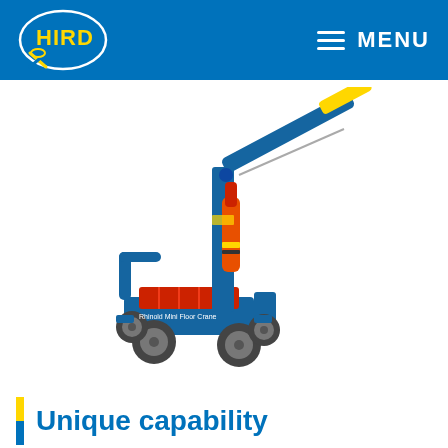HIRD | MENU
[Figure (photo): Blue hydraulic mini floor crane with red pump cylinder, yellow boom extension, red basket/counterweight base, and four wheels. The crane is shown at an angle with the boom extending upper right. Text on base reads 'Rhinold Mini Floor Crane'.]
Unique capability